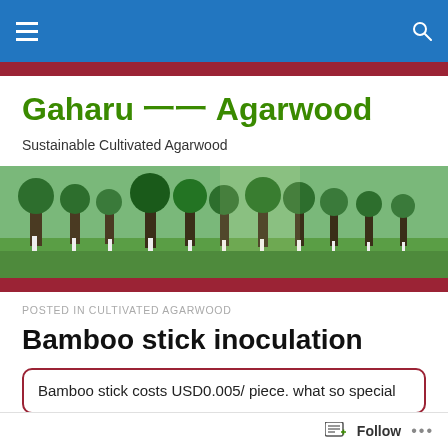Gaharu Ⅱ Agarwood — navigation bar
Gaharu ⅡⅡ Agarwood
Sustainable Cultivated Agarwood
[Figure (photo): Aerial/ground view of a cultivated agarwood tree plantation with rows of trees and green grass]
POSTED IN CULTIVATED AGARWOOD
Bamboo stick inoculation
Bamboo stick costs USD0.005/ piece. what so special about this piece?